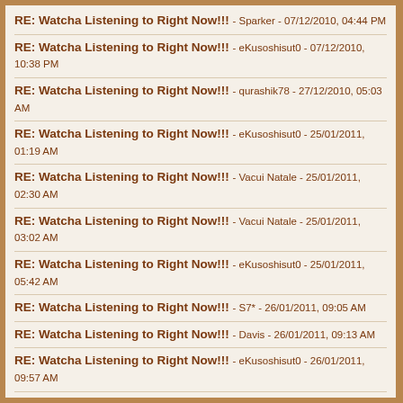RE: Watcha Listening to Right Now!!! - Sparker - 07/12/2010, 04:44 PM
RE: Watcha Listening to Right Now!!! - eKusoshisut0 - 07/12/2010, 10:38 PM
RE: Watcha Listening to Right Now!!! - qurashik78 - 27/12/2010, 05:03 AM
RE: Watcha Listening to Right Now!!! - eKusoshisut0 - 25/01/2011, 01:19 AM
RE: Watcha Listening to Right Now!!! - Vacui Natale - 25/01/2011, 02:30 AM
RE: Watcha Listening to Right Now!!! - Vacui Natale - 25/01/2011, 03:02 AM
RE: Watcha Listening to Right Now!!! - eKusoshisut0 - 25/01/2011, 05:42 AM
RE: Watcha Listening to Right Now!!! - S7* - 26/01/2011, 09:05 AM
RE: Watcha Listening to Right Now!!! - Davis - 26/01/2011, 09:13 AM
RE: Watcha Listening to Right Now!!! - eKusoshisut0 - 26/01/2011, 09:57 AM
RE: Watcha Listening to Right Now!!! - Sparker - 26/01/2011, 12:23 PM
RE: Watcha Listening to Right Now!!! - Royden1 - 28/01/2011, 11:49 PM
RE: Watcha Listening to Right Now!!! - S7* - 29/01/2011, 02:21 AM
RE: Watcha Listening to Right Now!!! - bloodangel619 - 29/01/2011, 02:58 AM
RE: Watcha Listening to Right Now!!! - S7* - 29/01/2011, 01:33 PM
RE: Watcha Listening to Right Now!!! - Diabelski Chojrak - 30/01/2011,